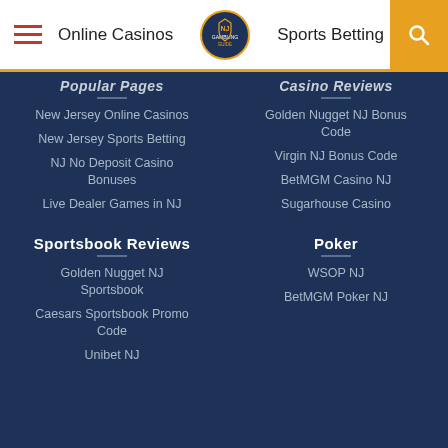Online Casinos | NJ Gambling Guide Logo | Sports Betting
Popular Pages
New Jersey Online Casinos
New Jersey Sports Betting
NJ No Deposit Casino Bonuses
Live Dealer Games in NJ
Casino Reviews
Golden Nugget NJ Bonus Code
Virgin NJ Bonus Code
BetMGM Casino NJ
Sugarhouse Casino
Sportsbook Reviews
Golden Nugget NJ Sportsbook
Caesars Sportsbook Promo Code
Unibet NJ
Poker
WSOP NJ
BetMGM Poker NJ